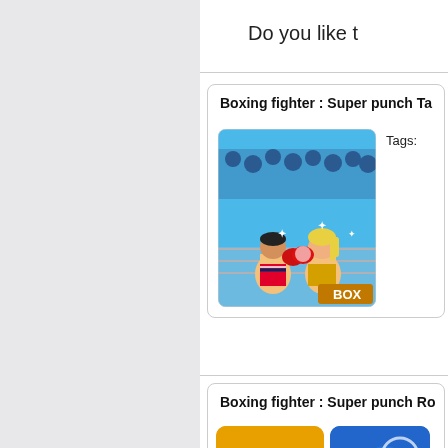Do you like t
Boxing fighter : Super punch Ta
[Figure (screenshot): Boxing game screenshot showing two cartoon boxers fighting in a ring with audience in background, 'BOX' text in corner]
Tags:
Boxing fighter : Super punch Ro
[Figure (screenshot): Blue cartoon boxer character with red boxing gloves on orange background]
[Figure (screenshot): Partially visible blue game screenshot with 'SU' text visible]